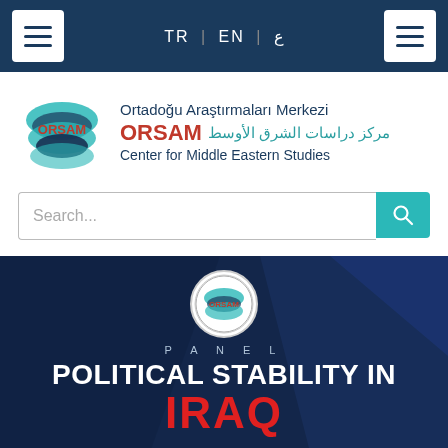TR | EN | ع
[Figure (logo): ORSAM - Ortadoğu Araştırmaları Merkezi / Center for Middle Eastern Studies logo with teal wave graphic]
Search...
[Figure (infographic): ORSAM Panel banner with dark navy background, ORSAM circular badge, text 'PANEL' and 'POLITICAL STABILITY IN IRAQ']